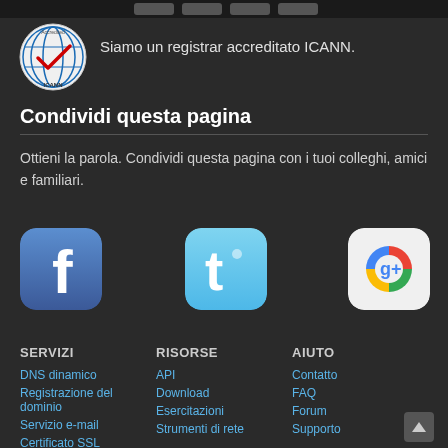[Figure (logo): ICANN accredited registrar circular logo with globe and checkmark]
Siamo un registrar accreditato ICANN.
Condividi questa pagina
Ottieni la parola. Condividi questa pagina con i tuoi colleghi, amici e familiari.
[Figure (logo): Facebook app icon - blue rounded square with white lowercase f]
[Figure (logo): Twitter app icon - light blue rounded square with white bird/t letter]
[Figure (logo): Google+ app icon - rounded square with colorful Google G logo]
SERVIZI
RISORSE
AIUTO
DNS dinamico
Registrazione del dominio
Servizio e-mail
Certificato SSL
API
Download
Esercitazioni
Strumenti di rete
Contatto
FAQ
Forum
Supporto